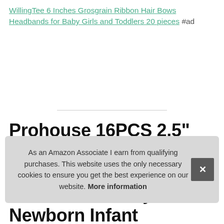WillingTee 6 Inches Grosgrain Ribbon Hair Bows Headbands for Baby Girls and Toddlers 20 pieces #ad
Prohouse 16PCS 2.5" Baby Nylon Headbands Hairbands Hair Bow Elastics for Baby Girls Newborn Infant Toddlers Kids
As an Amazon Associate I earn from qualifying purchases. This website uses the only necessary cookies to ensure you get the best experience on our website. More information